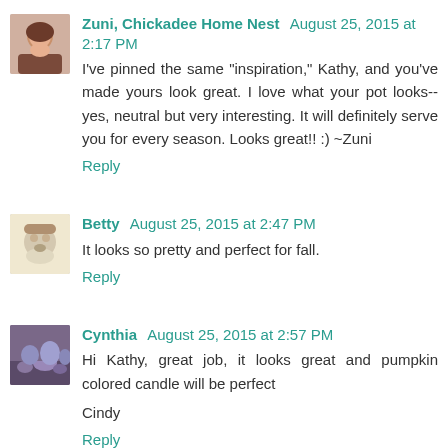[Figure (photo): Avatar photo of a woman with brown hair]
Zuni, Chickadee Home Nest August 25, 2015 at 2:17 PM
I've pinned the same "inspiration," Kathy, and you've made yours look great. I love what your pot looks--yes, neutral but very interesting. It will definitely serve you for every season. Looks great!! :) ~Zuni
Reply
[Figure (illustration): Small cartoon/illustration avatar]
Betty August 25, 2015 at 2:47 PM
It looks so pretty and perfect for fall.
Reply
[Figure (photo): Avatar photo of purple flowers/lavender field]
Cynthia August 25, 2015 at 2:57 PM
Hi Kathy, great job, it looks great and pumpkin colored candle will be perfect
Cindy
Reply